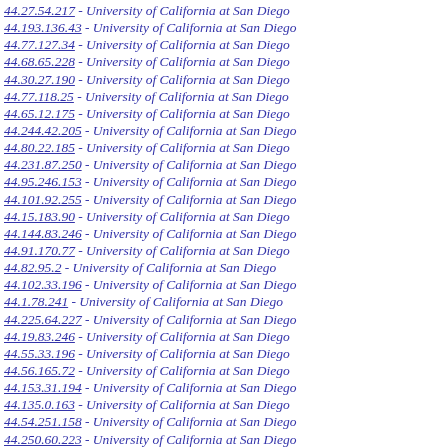44.27.54.217 - University of California at San Diego
44.193.136.43 - University of California at San Diego
44.77.127.34 - University of California at San Diego
44.68.65.228 - University of California at San Diego
44.30.27.190 - University of California at San Diego
44.77.118.25 - University of California at San Diego
44.65.12.175 - University of California at San Diego
44.244.42.205 - University of California at San Diego
44.80.22.185 - University of California at San Diego
44.231.87.250 - University of California at San Diego
44.95.246.153 - University of California at San Diego
44.101.92.255 - University of California at San Diego
44.15.183.90 - University of California at San Diego
44.144.83.246 - University of California at San Diego
44.91.170.77 - University of California at San Diego
44.82.95.2 - University of California at San Diego
44.102.33.196 - University of California at San Diego
44.1.78.241 - University of California at San Diego
44.225.64.227 - University of California at San Diego
44.19.83.246 - University of California at San Diego
44.55.33.196 - University of California at San Diego
44.56.165.72 - University of California at San Diego
44.153.31.194 - University of California at San Diego
44.135.0.163 - University of California at San Diego
44.54.251.158 - University of California at San Diego
44.250.60.223 - University of California at San Diego
44.58.32.195 - University of California at San Diego
44.77.160.67 - University of California at San Diego
44.126.0.163 - University of California at San Diego
44.13.0.163 - University of California at San Diego